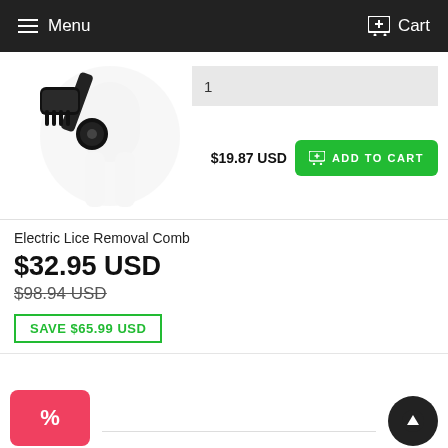Menu   Cart
[Figure (photo): Electric lice removal comb product image with faint background figure]
$19.87 USD   ADD TO CART
Electric Lice Removal Comb
$32.95 USD
$98.94 USD
SAVE $65.99 USD
FREQUENTLY BOUGHT TOGETHER